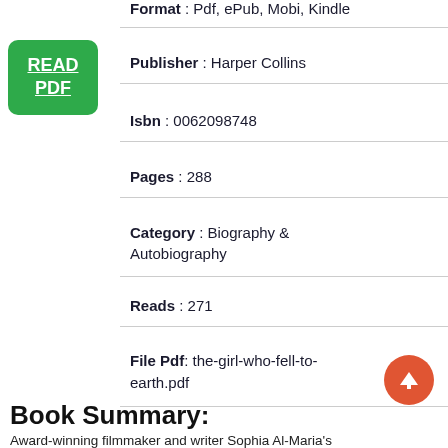Format : Pdf, ePub, Mobi, Kindle
[Figure (other): Green READ PDF button]
Publisher : Harper Collins
Isbn : 0062098748
Pages : 288
Category : Biography & Autobiography
Reads : 271
File Pdf: the-girl-who-fell-to-earth.pdf
Book Summary:
Award-winning filmmaker and writer Sophia Al-Maria's The Girl Who Fell to Earth is a funny and wry coming-